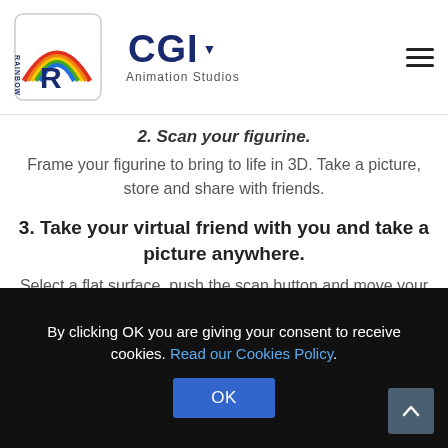Rainbow CGI Animation Studios
2. Scan your figurine.
Frame your figurine to bring to life in 3D. Take a picture, store and share with friends.
3. Take your virtual friend with you and take a picture anywhere.
Select a flat surface, push the scan button and move your phone until the stars displaying on the screen and tap on your screen to view your passport friend in real space!
By clicking OK you are giving your consent to receive cookies. Read our Cookies Policy. OK